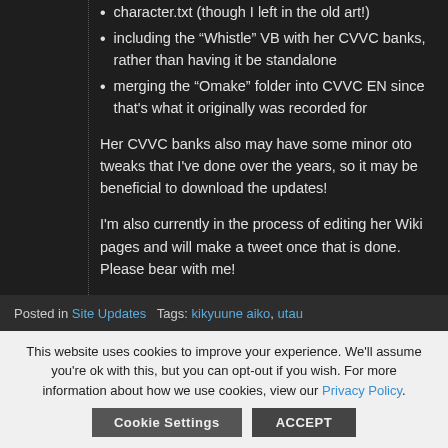character.txt (though I left in the old art!)
including the “Whistle” VB with her CVVC banks, rather than having it be standalone
merging the “Omake” folder into CVVC EN since that’s what it originally was recorded for
Her CVVC banks also may have some minor oto tweaks that I’ve done over the years, so it may be beneficial to download the updates!
I’m also currently in the process of editing her Wiki pages and will make a tweet once that is done. Please bear with me!
Posted in Site Updates   Tags: kikyuune aiko, utau
This website uses cookies to improve your experience. We’ll assume you’re ok with this, but you can opt-out if you wish. For more information about how we use cookies, view our Privacy Policy.